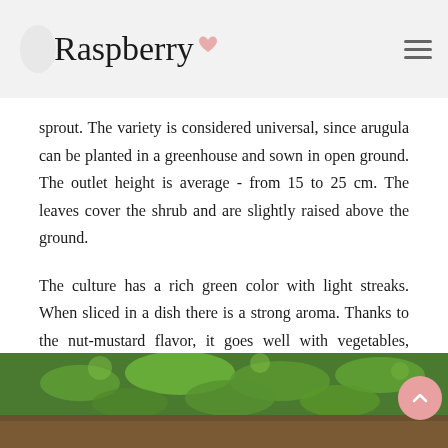Raspberry
sprout. The variety is considered universal, since arugula can be planted in a greenhouse and sown in open ground. The outlet height is average - from 15 to 25 cm. The leaves cover the shrub and are slightly raised above the ground.
The culture has a rich green color with light streaks. When sliced in a dish there is a strong aroma. Thanks to the nut-mustard flavor, it goes well with vegetables, meats and cheeses. It is considered a dietary product. Arugula Victoria is a real source of vital minerals, vitamins and other equally useful substances.
[Figure (photo): Photo of arugula plants growing in the ground, showing green leafy plants]